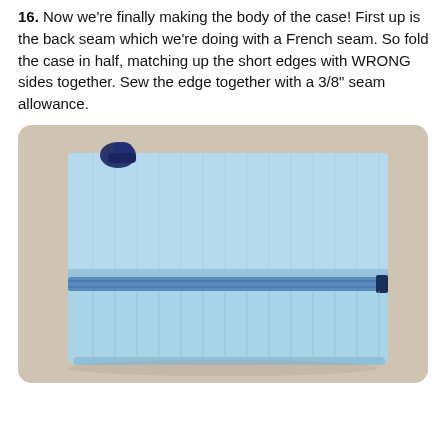16. Now we're finally making the body of the case! First up is the back seam which we're doing with a French seam. So fold the case in half, matching up the short edges with WRONG sides together. Sew the edge together with a 3/8" seam allowance.
[Figure (photo): Photo of a light blue quilted fabric case folded in half on a beige surface, with a blue zipper across the middle and a dark navy zipper pull visible at the top left corner.]